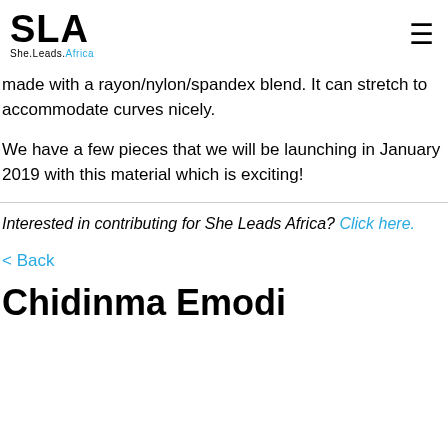SLA She.Leads.Africa
made with a rayon/nylon/spandex blend. It can stretch to accommodate curves nicely.
We have a few pieces that we will be launching in January 2019 with this material which is exciting!
Interested in contributing for She Leads Africa? Click here.
< Back
Chidinma Emodi